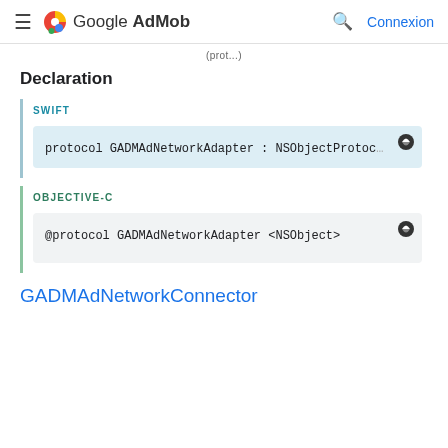≡  Google AdMob  🔍  Connexion
(partial text truncated at top)
Declaration
SWIFT
OBJECTIVE-C
GADMAdNetworkConnector